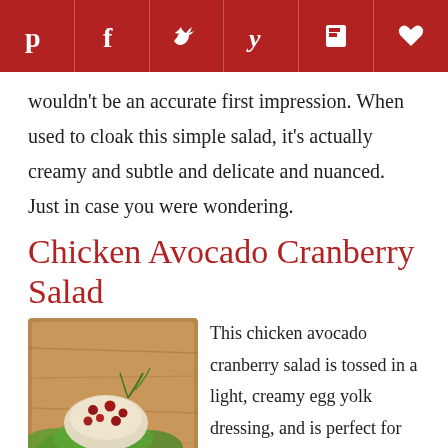[Figure (other): Social media sharing bar with icons for Pinterest, Facebook, Twitter, Yummly, Flipboard, and a heart/save button on dark red background]
wouldn't be an accurate first impression. When used to cloak this simple salad, it's actually creamy and subtle and delicate and nuanced. Just in case you were wondering.
Chicken Avocado Cranberry Salad
[Figure (photo): Photo of chicken avocado cranberry salad on a wooden board with lettuce, avocado slices, and cranberries]
This chicken avocado cranberry salad is tossed in a light, creamy egg yolk dressing, and is perfect for an easy lunch or light weeknight meal.–Suzanne Martinson with Jane Citron and Robert Sendall